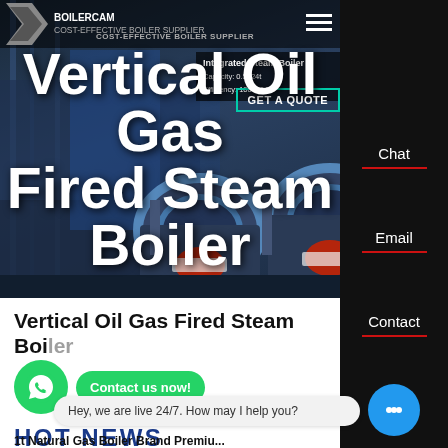[Figure (screenshot): Hero banner showing industrial gas-fired steam boilers in a dark blue/grey facility setting with overlaid navigation bar and title text]
Vertical Oil Gas Fired Steam Boiler
COST-EFFECTIVE BOILER SUPPLIER
Chat
Email
Contact
HOT NEWS
Hey, we are live 24/7. How may I help you?
1t Natural Gas Boiler Brand Premium...